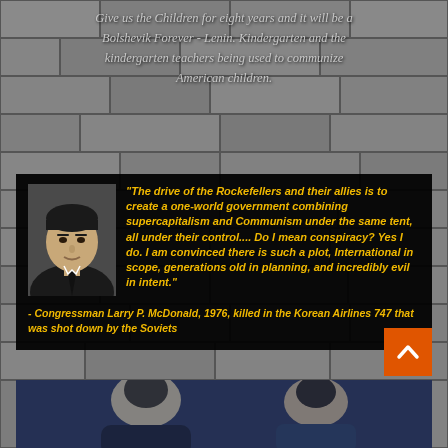Give us the Children for eight years and it will be a Bolshevik Forever - Lenin. Kindergarten and the kindergarten teachers being used to communize American children.
[Figure (photo): Black and white portrait photo of Congressman Larry P. McDonald, a man in a suit with dark hair]
"The drive of the Rockefellers and their allies is to create a one-world government combining supercapitalism and Communism under the same tent, all under their control.... Do I mean conspiracy? Yes I do. I am convinced there is such a plot, International in scope, generations old in planning, and incredibly evil in intent."
- Congressman Larry P. McDonald, 1976, killed in the Korean Airlines 747 that was shot down by the Soviets
[Figure (photo): Bottom portion showing partial faces/images of people at the bottom of the page]